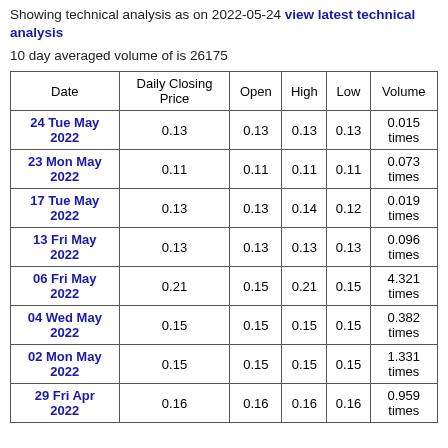Showing technical analysis as on 2022-05-24 view latest technical analysis
10 day averaged volume of is 26175
| Date | Daily Closing Price | Open | High | Low | Volume |
| --- | --- | --- | --- | --- | --- |
| 24 Tue May 2022 | 0.13 | 0.13 | 0.13 | 0.13 | 0.015 times |
| 23 Mon May 2022 | 0.11 | 0.11 | 0.11 | 0.11 | 0.073 times |
| 17 Tue May 2022 | 0.13 | 0.13 | 0.14 | 0.12 | 0.019 times |
| 13 Fri May 2022 | 0.13 | 0.13 | 0.13 | 0.13 | 0.096 times |
| 06 Fri May 2022 | 0.21 | 0.15 | 0.21 | 0.15 | 4.321 times |
| 04 Wed May 2022 | 0.15 | 0.15 | 0.15 | 0.15 | 0.382 times |
| 02 Mon May 2022 | 0.15 | 0.15 | 0.15 | 0.15 | 1.331 times |
| 29 Fri Apr 2022 | 0.16 | 0.16 | 0.16 | 0.16 | 0.959 times |